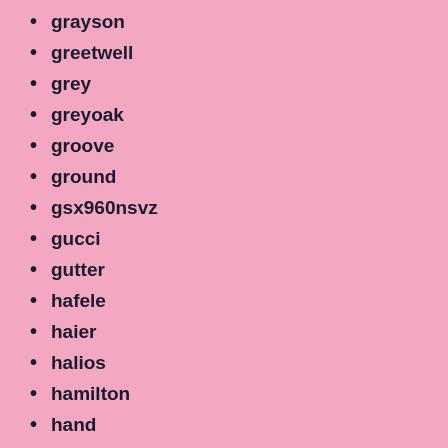grayson
greetwell
grey
greyoak
groove
ground
gsx960nsvz
gucci
gutter
hafele
haier
halios
hamilton
hand
handmade
handrail
handsfree
harbor
harley davidson